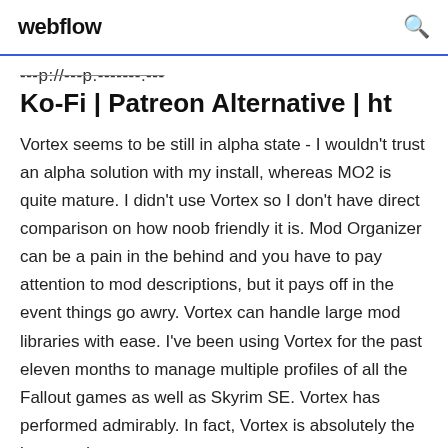webflow
---p://---p.-------.---
Ko-Fi | Patreon Alternative | ht
Vortex seems to be still in alpha state - I wouldn't trust an alpha solution with my install, whereas MO2 is quite mature. I didn't use Vortex so I don't have direct comparison on how noob friendly it is. Mod Organizer can be a pain in the behind and you have to pay attention to mod descriptions, but it pays off in the event things go awry. Vortex can handle large mod libraries with ease. I've been using Vortex for the past eleven months to manage multiple profiles of all the Fallout games as well as Skyrim SE. Vortex has performed admirably. In fact, Vortex is absolutely the best mod